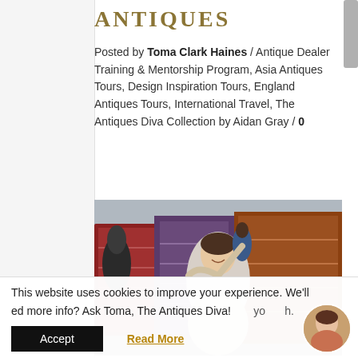ANTIQUES
Posted by Toma Clark Haines / Antique Dealer Training & Mentorship Program, Asia Antiques Tours, Design Inspiration Tours, England Antiques Tours, International Travel, The Antiques Diva Collection by Aidan Gray / 0
[Figure (photo): Woman smiling and holding a decorative object at an antiques market, surrounded by colorful rugs and tapestries]
This website uses cookies to improve your experience. We'll
ed more info? Ask Toma, The Antiques Diva!
Accept
Read More